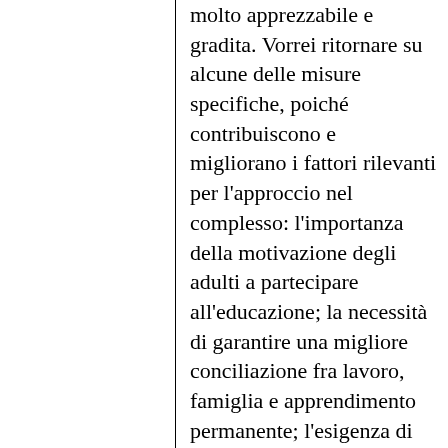molto apprezzabile e gradita. Vorrei ritornare su alcune delle misure specifiche, poiché contribuiscono e migliorano i fattori rilevanti per l'approccio nel complesso: l'importanza della motivazione degli adulti a partecipare all'educazione; la necessità di garantire una migliore conciliazione fra lavoro, famiglia e apprendimento permanente; l'esigenza di solidarietà interculturale e tra generazioni; l'importanza dell'apprendimento o dell'insegnamento delle lingue; il rispetto per le esigenze specifiche dei gruppi vulnerabili e il valore di insegnanti di qualità elevata, che è stato discusso di recente ed è uno degli elementi principali per il successo didattico; un migliore accesso all'istruzione superiore e la realizzazione di dati statistici o informazioni comparabili. La Commissione considererà anche il